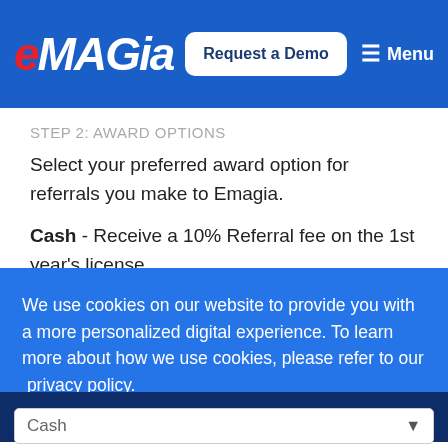eMagia — Request a Demo — Menu
STEP 2: AWARD OPTIONS
Select your preferred award option for referrals you make to Emagia.
Cash - Receive a 10% Referral fee on the 1st year's license.
We use cookies on our website to provide you with a more personalized digital experience. To learn more about how we use cookies, please refer to our privacy policy.
GOT IT!
Cash